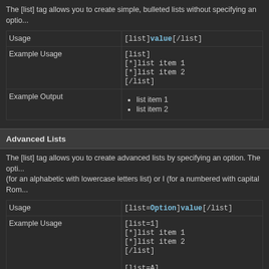The [list] tag allows you to create simple, bulleted lists without specifying an option.
|  |  |
| --- | --- |
| Usage | [list]value[/list] |
| Example Usage | [list]
[*]list item 1
[*]list item 2
[/list] |
| Example Output | • list item 1
• list item 2 |
Advanced Lists
The [list] tag allows you to create advanced lists by specifying an option. The option a (for an alphabetic with lowercase letters list) or I (for a numbered with capital Roman...
|  |  |
| --- | --- |
| Usage | [list=Option]value[/list] |
| Example Usage | [list=1]
[*]list item 1
[*]list item 2
[/list]

[list=A]
[*]list item 1
[*]list item 2
[/list] |